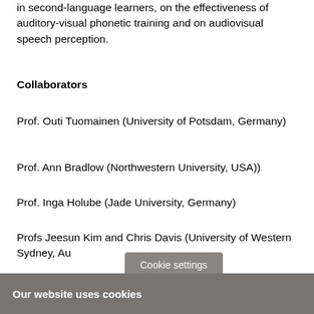in second-language learners, on the effectiveness of auditory-visual phonetic training and on audiovisual speech perception.
Collaborators
Prof. Outi Tuomainen (University of Potsdam, Germany)
Prof. Ann Bradlow (Northwestern University, USA))
Prof. Inga Holube (Jade University, Germany)
Profs Jeesun Kim and Chris Davis (University of Western Sydney, Au...
Our website uses cookies